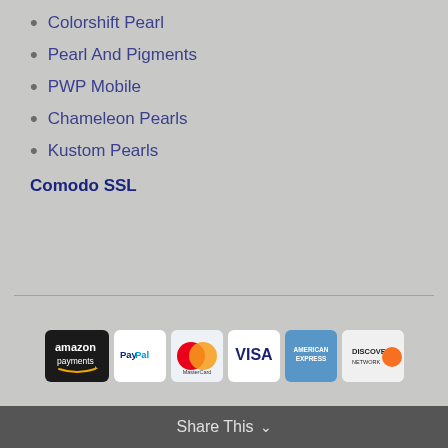Colorshift Pearl
Pearl And Pigments
PWP Mobile
Chameleon Pearls
Kustom Pearls
Comodo SSL
[Figure (logo): Payment method logos: Amazon Payments, PayPal, MasterCard, Visa, American Express, Discover Network]
Share This